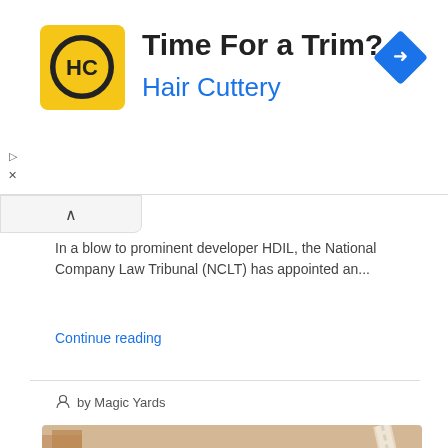[Figure (advertisement): Hair Cuttery ad banner with yellow logo showing HC, title 'Time For a Trim?' and blue navigation badge]
In a blow to prominent developer HDIL, the National Company Law Tribunal (NCLT) has appointed an...
Continue reading
by Magic Yards
[Figure (photo): Aerial view of a dense urban Indian cityscape showing multi-story residential and commercial buildings with a curved elevated metro/monorail track on the right side]